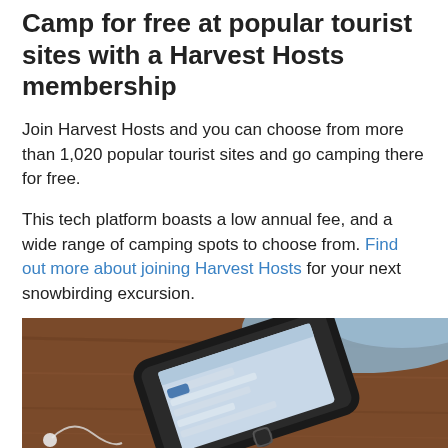Camp for free at popular tourist sites with a Harvest Hosts membership
Join Harvest Hosts and you can choose from more than 1,020 popular tourist sites and go camping there for free.
This tech platform boasts a low annual fee, and a wide range of camping spots to choose from. Find out more about joining Harvest Hosts for your next snowbirding excursion.
[Figure (photo): A smartphone lying on a wooden surface with a blue cloth in the background, displaying a Harvest Hosts app or website screen, with earphones visible in the corner.]